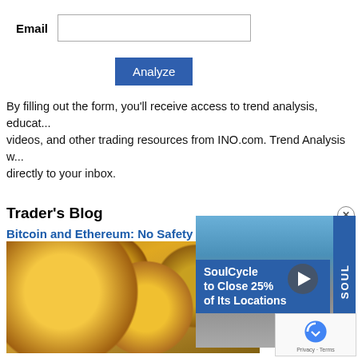Email [input field]
Analyze
By filling out the form, you'll receive access to trend analysis, educational videos, and other trading resources from INO.com. Trend Analysis w... directly to your inbox.
Trader's Blog
Bitcoin and Ethereum: No Safety...
13 hours ago
[Figure (photo): Gold cryptocurrency coins (Bitcoin, Ethereum and others) photographed from above]
[Figure (screenshot): Video ad overlay: SoulCycle to Close 25% of Its Locations, with play button and blue background]
[Figure (other): reCAPTCHA widget with Privacy and Terms links]